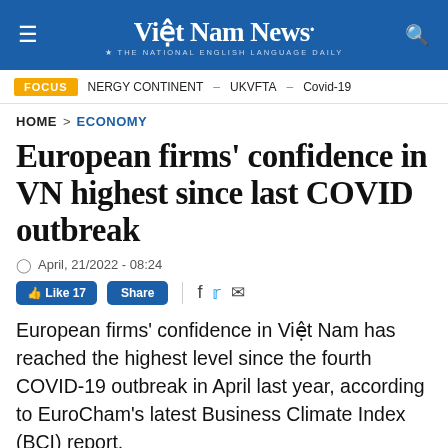Việt Nam News. THE NATIONAL ENGLISH LANGUAGE DAILY
FOCUS  NERGY CONTINENT – UKVFTA – Covid-19
HOME > ECONOMY
European firms' confidence in VN highest since last COVID outbreak
April, 21/2022 - 08:24
Like 17  Share
European firms' confidence in Việt Nam has reached the highest level since the fourth COVID-19 outbreak in April last year, according to EuroCham's latest Business Climate Index (BCI) report.